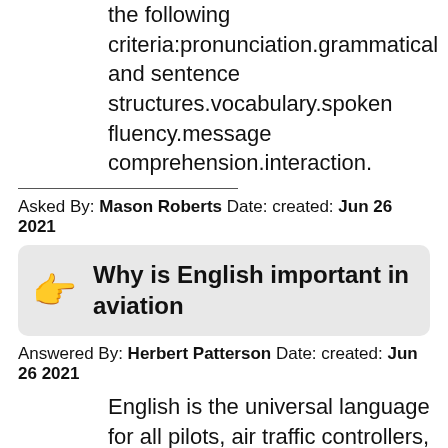the following criteria:pronunciation.grammatical and sentence structures.vocabulary.spoken fluency.message comprehension.interaction.
Asked By: Mason Roberts Date: created: Jun 26 2021
Why is English important in aviation
Answered By: Herbert Patterson Date: created: Jun 26 2021
English is the universal language for all pilots, air traffic controllers, and aircraft dispatchers who wish to operate in any international aviation work place. … The ICAO has set new standards for English proficiency for all pilots, air traffic controllers and flight dispatchers.